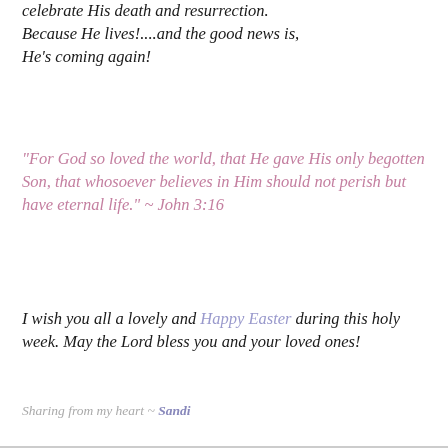celebrate His death and resurrection. Because He lives!....and the good news is, He's coming again!
"For God so loved the world, that He gave His only begotten Son, that whosoever believes in Him should not perish but have eternal life." ~ John 3:16
I wish you all a lovely and Happy Easter during this holy week. May the Lord bless you and your loved ones!
Sharing from my heart ~ Sandi